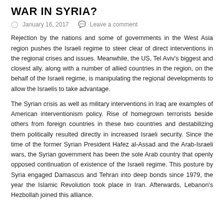WAR IN SYRIA?
January 16, 2017   Leave a comment
Rejection by the nations and some of governments in the West Asia region pushes the Israeli regime to steer clear of direct interventions in the regional crises and issues. Meanwhile, the US, Tel Aviv's biggest and closest ally, along with a number of allied countries in the region, on the behalf of the Israeli regime, is manipulating the regional developments to allow the Israelis to take advantage.
The Syrian crisis as well as military interventions in Iraq are examples of American interventionism policy. Rise of homegrown terrorists beside others from foreign countries in these two countries and destabilizing them politically resulted directly in increased Israeli security. Since the time of the former Syrian President Hafez al-Assad and the Arab-Israeli wars, the Syrian government has been the sole Arab country that openly opposed continuation of existence of the Israeli regime. This posture by Syria engaged Damascus and Tehran into deep bonds since 1979, the year the Islamic Revolution took place in Iran. Afterwards, Lebanon's Hezbollah joined this alliance.